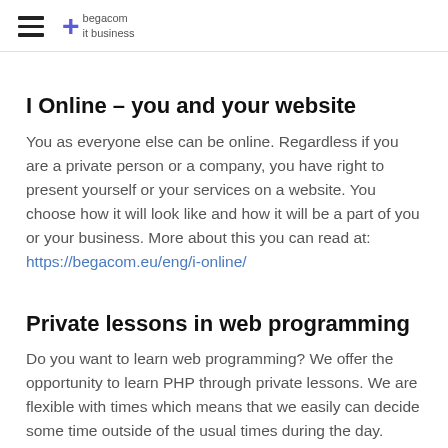begacom it business
I Online – you and your website
You as everyone else can be online. Regardless if you are a private person or a company, you have right to present yourself or your services on a website. You choose how it will look like and how it will be a part of you or your business. More about this you can read at: https://begacom.eu/eng/i-online/
Private lessons in web programming
Do you want to learn web programming? We offer the opportunity to learn PHP through private lessons. We are flexible with times which means that we easily can decide some time outside of the usual times during the day.